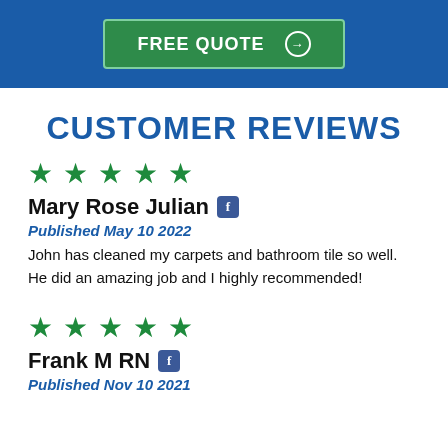[Figure (other): FREE QUOTE button with arrow icon on blue banner background]
CUSTOMER REVIEWS
[Figure (other): Five green stars rating]
Mary Rose Julian
Published May 10 2022
John has cleaned my carpets and bathroom tile so well. He did an amazing job and I highly recommended!
[Figure (other): Five green stars rating]
Frank M RN
Published Nov 10 2021